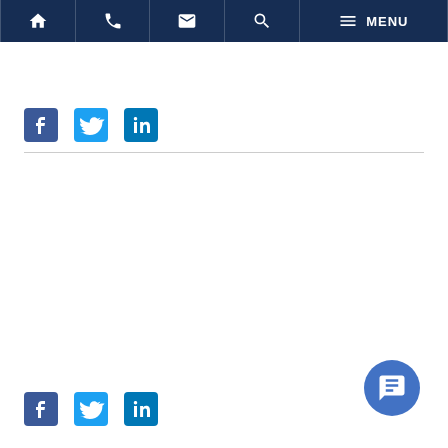Navigation bar with home, phone, email, search, and menu icons
[Figure (screenshot): Social media share icons row (Facebook, Twitter, LinkedIn) near top of page]
[Figure (screenshot): Social media share icons row (Facebook, Twitter, LinkedIn) at bottom of page]
[Figure (screenshot): Blue circular chat/messaging button in bottom right corner]